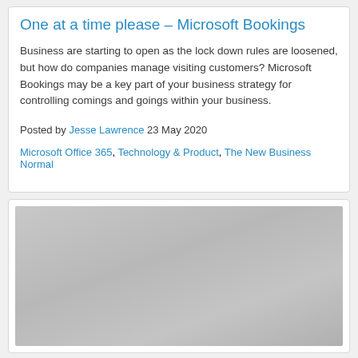One at a time please – Microsoft Bookings
Business are starting to open as the lock down rules are loosened, but how do companies manage visiting customers? Microsoft Bookings may be a key part of your business strategy for controlling comings and goings within your business.
Posted by Jesse Lawrence 23 May 2020
Microsoft Office 365, Technology & Product, The New Business Normal
[Figure (photo): A grey/silver image placeholder, likely a thumbnail or preview image associated with the Microsoft Bookings article.]